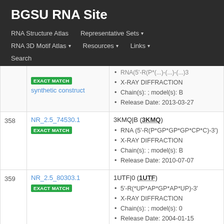BGSU RNA Site
RNA Structure Atlas | Representative Sets ▾ | RNA 3D Motif Atlas ▾ | Resources ▾ | Links ▾ | Search
| # | ID | Details |
| --- | --- | --- |
|  | NR_2.5_... [EXACT MATCH] | synthetic construct • X-RAY DIFFRACTION • Chain(s): ; model(s): B • Release Date: 2013-03-27 |
| 358 | NR_2.5_74530.1 [EXACT MATCH] | 3KMQ|B (3KMQ) • RNA (5'-R(P*GP*GP*GP*CP*C)-3') • X-RAY DIFFRACTION • Chain(s): ; model(s): B • Release Date: 2010-07-07 |
| 359 | NR_2.5_80303.1 [EXACT MATCH] | 1UTF|0 (1UTF) • 5'-R(*UP*AP*GP*AP*UP)-3' • X-RAY DIFFRACTION • Chain(s): ; model(s): 0 • Release Date: 2004-01-15 |